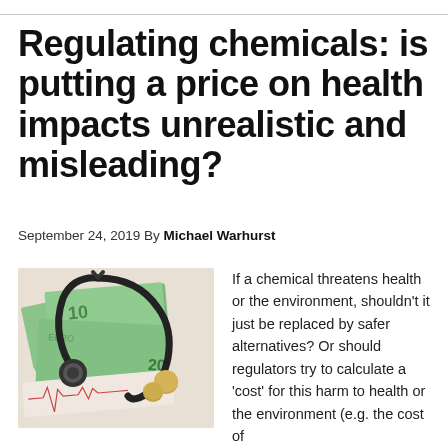Regulating chemicals: is putting a price on health impacts unrealistic and misleading?
September 24, 2019 By Michael Warhurst
[Figure (photo): A stethoscope resting on a pile of Euro banknotes, with a heart rate chart visible underneath, suggesting a connection between healthcare and financial costs.]
If a chemical threatens health or the environment, shouldn't it just be replaced by safer alternatives? Or should regulators try to calculate a 'cost' for this harm to health or the environment (e.g. the cost of